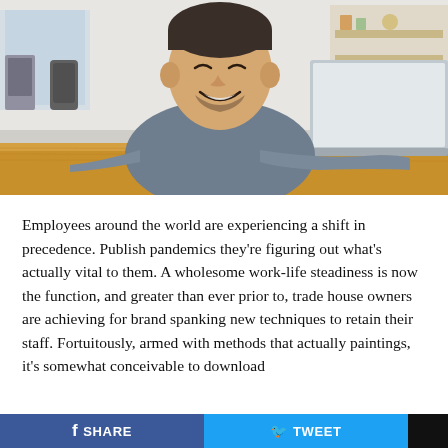[Figure (photo): A smiling man with a beard wearing a grey long-sleeve shirt, sitting at a wooden desk with a laptop open in front of him. Office environment visible in background.]
Employees around the world are experiencing a shift in precedence. Publish pandemics they're figuring out what's actually vital to them. A wholesome work-life steadiness is now the function, and greater than ever prior to, trade house owners are achieving for brand spanking new techniques to retain their staff. Fortuitously, armed with methods that actually paintings, it's somewhat conceivable to download
SHARE   TWEET